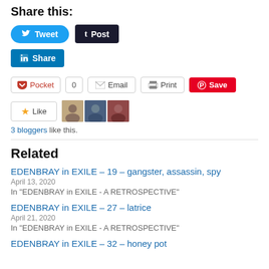Share this:
[Figure (other): Social share buttons: Tweet (Twitter), Post (Tumblr), Share (LinkedIn), Pocket with count 0, Email, Print, Save (Pinterest)]
[Figure (other): Like button with star icon and 3 blogger avatar thumbnails]
3 bloggers like this.
Related
EDENBRAY in EXILE – 19 – gangster, assassin, spy
April 13, 2020
In "EDENBRAY in EXILE - A RETROSPECTIVE"
EDENBRAY in EXILE – 27 – latrice
April 21, 2020
In "EDENBRAY in EXILE - A RETROSPECTIVE"
EDENBRAY in EXILE – 32 – honey pot